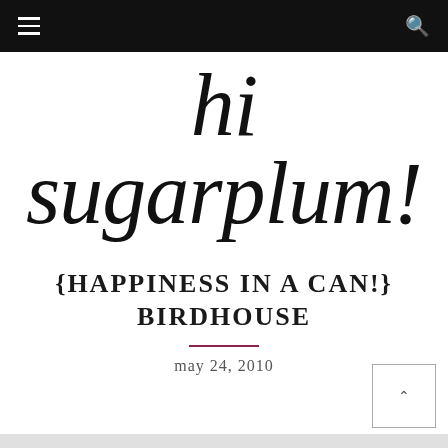navigation bar with hamburger menu and search icon
hi sugarplum!
{HAPPINESS IN A CAN!} BIRDHOUSE
may 24, 2010